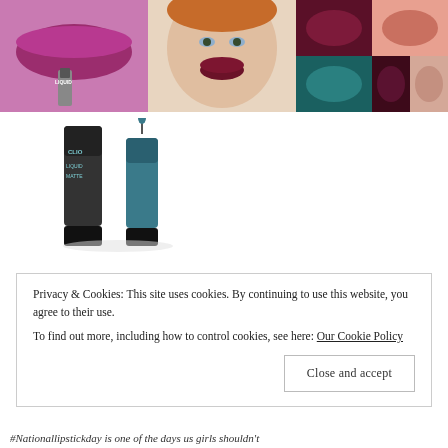[Figure (photo): Collage of lipstick photos: close-up of lips in magenta/purple with a liquid lipstick tube labeled 'LIQUID', a woman with dark red lip color, and multiple swatches of dark berry, teal, and nude lip colors]
[Figure (photo): Product photo of two Clio Liquid Matte lipstick tubes, one dark and one teal/blue, with caps off]
Privacy & Cookies: This site uses cookies. By continuing to use this website, you agree to their use.
To find out more, including how to control cookies, see here: Our Cookie Policy
#Nationallipstickday is one of the days us girls shouldn't